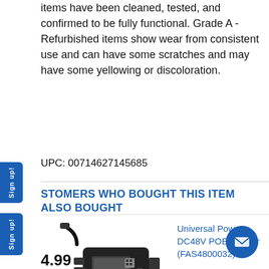items have been cleaned, tested, and confirmed to be fully functional. Grade A - Refurbished items show wear from consistent use and can have some scratches and may have some yellowing or discoloration.
UPC: 00714627145685
CUSTOMERS WHO BOUGHT THIS ITEM ALSO BOUGHT
[Figure (photo): Photo of Universal Power DC48V POE Injector device (FAS4800032), a small black network power injector with cables]
Universal Power DC48V POE Injector (FAS4800032)
$4.99